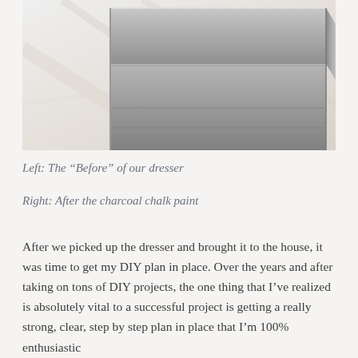[Figure (photo): A photograph of a metal or chrome dresser corner/edge, showing a silvery metallic surface against a light marble or paper background. The image is in grayscale tones, showing the geometric corner of the furniture piece.]
Left: The “Before” of our dresser
Right: After the charcoal chalk paint
After we picked up the dresser and brought it to the house, it was time to get my DIY plan in place. Over the years and after taking on tons of DIY projects, the one thing that I’ve realized is absolutely vital to a successful project is getting a really strong, clear, step by step plan in place that I’m 100% enthusiastic about. (A step by step plan of action is also a great